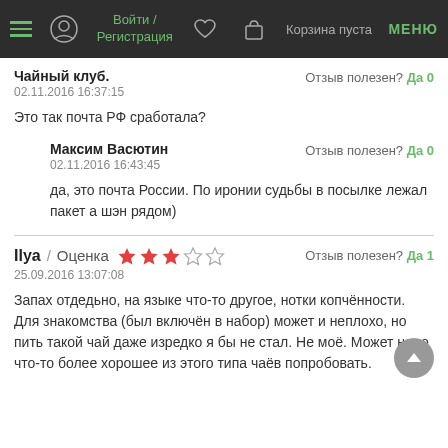Войти / Регистрация   Корзина пуста   МЕНЮ
Чайный клуб.
02.11.2016 16:37:15
Отзыв полезен? Да 0
Это так почта РФ сработала?
Максим Васютин
02.11.2016 16:43:45
Отзыв полезен? Да 0
да, это почта России. По иронии судьбы в посылке лежал пакет а шэн рядом)
Ilya / Оценка ★★★☆☆
25.09.2016 13:07:08
Отзыв полезен? Да 1
Запах отдедьно, на языке что-то другое, нотки копчённости. Для знакомства (был включён в набор) может и неплохо, но пить такой чай даже изредко я бы не стал. Не моё. Может надо что-то более хорошее из этого типа чаёв попробовать.